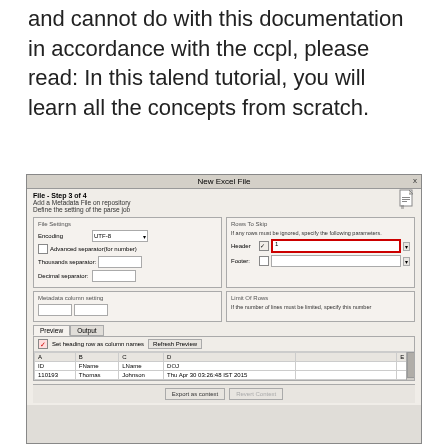and cannot do with this documentation in accordance with the ccpl, please read: In this talend tutorial, you will learn all the concepts from scratch.
[Figure (screenshot): Screenshot of Talend 'New Excel File' dialog - File Step 3 of 4, showing file settings (Encoding UTF-8, Advanced separator, Thousands separator, Decimal separator), Rows To Skip panel (Header checked with value 1 highlighted in red, Footer), Metadata column setting, Limit Of Rows, Preview/Output tabs, checkbox 'Set heading row as column names', Refresh Preview button, and a data preview table with columns A, B, C, D, E showing rows: ID/FName/LName/DOJ and 110193/Thomas/Johnson/Thu Apr 30 03:26:48 IST 2015. Bottom has Export as context and Revert Context buttons.]